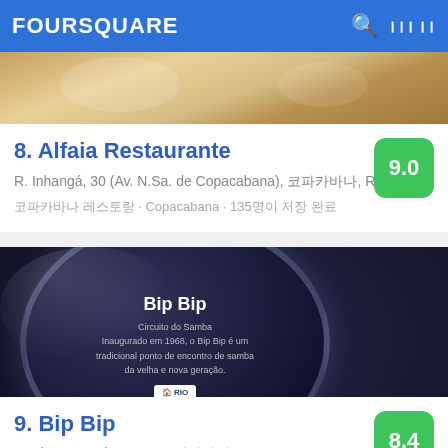FOURSQUARE
[Figure (photo): Food photo showing a dish with garnishes, warm tones]
8. Alfaia Restaurante
R. Inhangá, 30 (Av. N.Sa. de Copacabana), 코파카바나, RJ
코파카바나 레스토랑 · Copacabana · 135명이 저장 완료
[Figure (photo): Dark circular plaque reading 'Bip Bip - Circuito do Samba - Inaugurado em 1968, o Bip Bip é um tradicional ponto de encontro de samba da velha e nova geração.' with Rio de Janeiro logo]
9. Bip Bip
R. Alm. Gonçalves, 50, 코파카바나, RJ